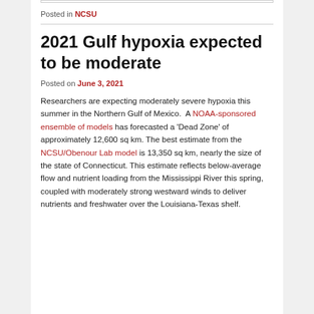Posted in NCSU
2021 Gulf hypoxia expected to be moderate
Posted on June 3, 2021
Researchers are expecting moderately severe hypoxia this summer in the Northern Gulf of Mexico. A NOAA-sponsored ensemble of models has forecasted a 'Dead Zone' of approximately 12,600 sq km. The best estimate from the NCSU/Obenour Lab model is 13,350 sq km, nearly the size of the state of Connecticut. This estimate reflects below-average flow and nutrient loading from the Mississippi River this spring, coupled with moderately strong westward winds to deliver nutrients and freshwater over the Louisiana-Texas shelf.